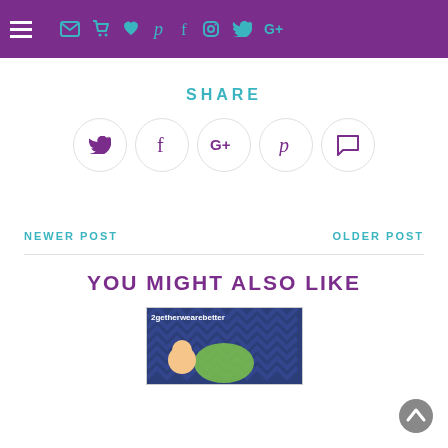Navigation bar with hamburger menu and social icons
SHARE
[Figure (infographic): Row of five circular share buttons: Twitter, Facebook, Google+, Pinterest, Comment]
NEWER POST
OLDER POST
YOU MIGHT ALSO LIKE
[Figure (photo): Thumbnail image with text '2getherwearebetter' and cartoon character on blue chevron background]